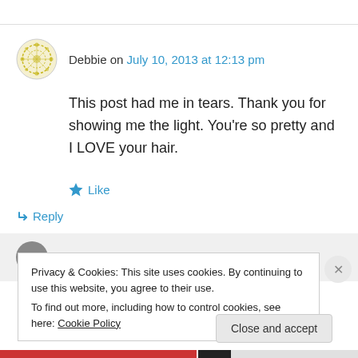Debbie on July 10, 2013 at 12:13 pm
This post had me in tears. Thank you for showing me the light. You’re so pretty and I LOVE your hair.
★ Like
↵ Reply
Sasha on July 10, 2013 at 7:30 pm
Privacy & Cookies: This site uses cookies. By continuing to use this website, you agree to their use.
To find out more, including how to control cookies, see here: Cookie Policy